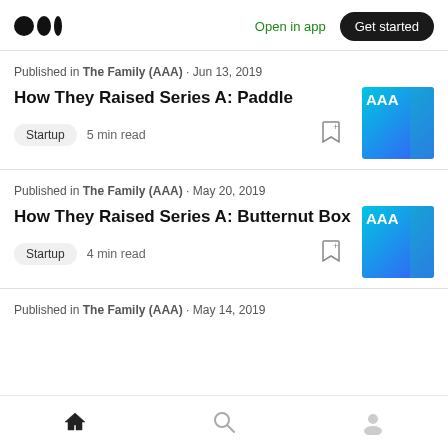Medium logo | Open in app | Get started
Published in The Family (AAA) · Jun 13, 2019
How They Raised Series A: Paddle
Startup  5 min read
Published in The Family (AAA) · May 20, 2019
How They Raised Series A: Butternut Box
Startup  4 min read
Published in The Family (AAA) · May 14, 2019
Home | Search | Profile